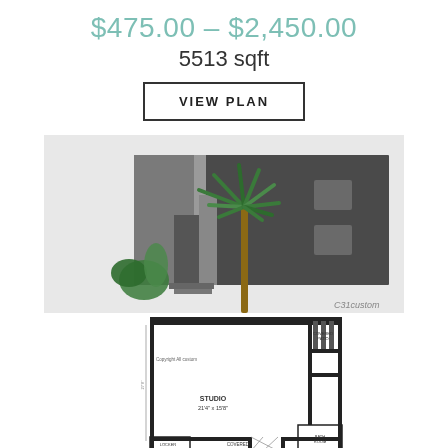$475.00 – $2,450.00
5513 sqft
VIEW PLAN
[Figure (illustration): 3D rendering of a modern flat-roof building with palm tree and tropical plants in the foreground. Dark charcoal facade with two square windows on right side. Watermark reading 'C31custom' in bottom-right corner.]
[Figure (engineering-diagram): Floor plan drawing showing a studio unit layout with STUDIO room labeled (21'4" x 15'8"), bathroom, covered patio area, locker/storage, and covered entry. Copyright All custom watermark visible.]